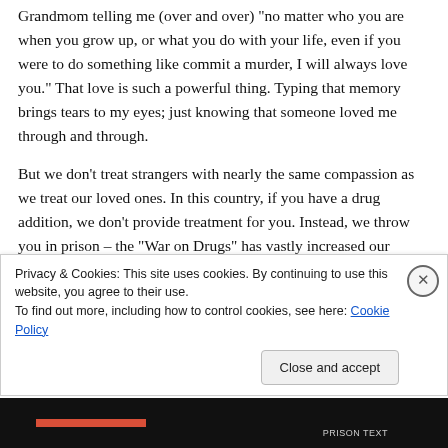Grandmom telling me (over and over) "no matter who you are when you grow up, or what you do with your life, even if you were to do something like commit a murder, I will always love you." That love is such a powerful thing. Typing that memory brings tears to my eyes; just knowing that someone loved me through and through.
But we don’t treat strangers with nearly the same compassion as we treat our loved ones. In this country, if you have a drug addition, we don’t provide treatment for you. Instead, we throw you in prison – the “War on Drugs” has vastly increased our prison population to never before
Privacy & Cookies: This site uses cookies. By continuing to use this website, you agree to their use.
To find out more, including how to control cookies, see here: Cookie Policy